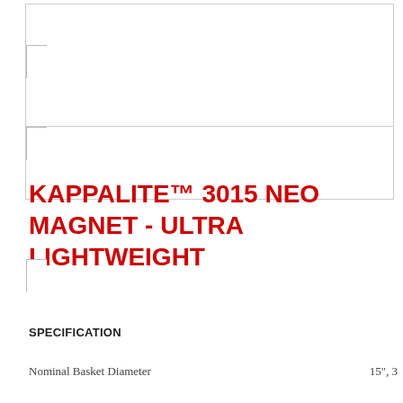[Figure (other): Top image placeholder area — blank white rectangle with border]
[Figure (other): Second image placeholder area — blank white rectangle with border and corner bracket mark]
KAPPALITE™ 3015 NEO MAGNET - ULTRA LIGHTWEIGHT
SPECIFICATION
Nominal Basket Diameter                     15", 3